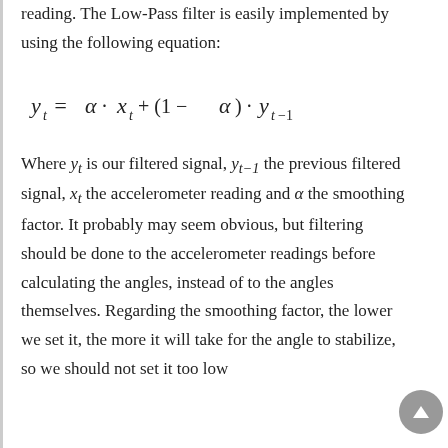reading. The Low-Pass filter is easily implemented by using the following equation:
Where y_t is our filtered signal, y_{t-1} the previous filtered signal, x_t the accelerometer reading and α the smoothing factor. It probably may seem obvious, but filtering should be done to the accelerometer readings before calculating the angles, instead of to the angles themselves. Regarding the smoothing factor, the lower we set it, the more it will take for the angle to stabilize, so we should not set it too low